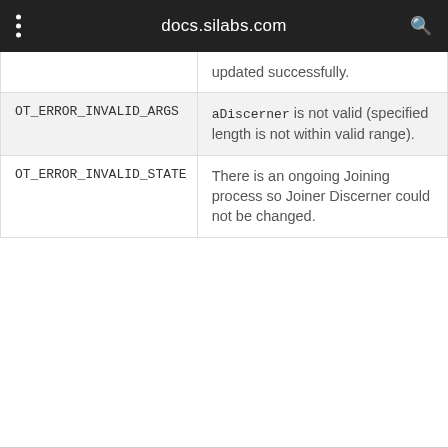docs.silabs.com
|  |  |
| --- | --- |
|  | updated successfully. |
| OT_ERROR_INVALID_ARGS | aDiscerner is not valid (specified length is not within valid range). |
| OT_ERROR_INVALID_STATE | There is an ongoing Joining process so Joiner Discerner could not be changed. |